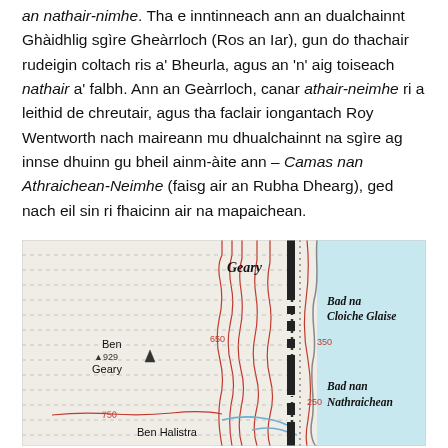an nathair-nimhe. Tha e inntinneach ann an dualchainnt Ghàidhlig sgìre Gheàrrloch (Ros an Iar), gun do thachair rudeigin coltach ris a' Bheurla, agus an 'n' aig toiseach nathair a' falbh. Ann an Geàrrloch, canar athair-neimhe ri a leithid de chreutair, agus tha faclair iongantach Roy Wentworth nach maireann mu dhualchainnt na sgìre ag innse dhuinn gu bheil ainm-àite ann – Camas nan Athraichean-Neimhe (faisg air an Rubha Dhearg), ged nach eil sin ri fhaicinn air na mapaichean.
[Figure (map): Topographic map excerpt showing Ben Geary (929m), Geary settlement, Ben Halistra, Bad na Cloiche Glaise, and Bad nan Nathraichean, with contour lines (650, 750, 350, 250) and a coastline on the right side.]